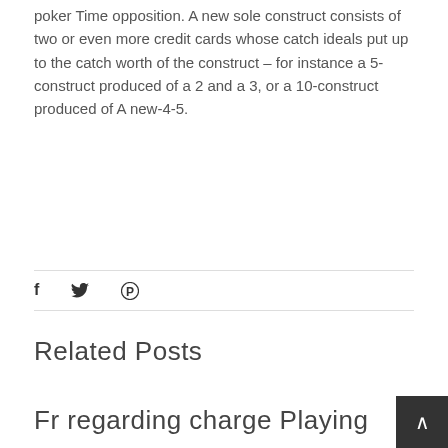poker Time opposition. A new sole construct consists of two or even more credit cards whose catch ideals put up to the catch worth of the construct – for instance a 5-construct produced of a 2 and a 3, or a 10-construct produced of A new-4-5.
[Figure (other): Social sharing icons bar with Facebook (f), Twitter (bird icon), and Pinterest (P) icons separated by a horizontal rule]
Related Posts
Fr regarding charge Playing